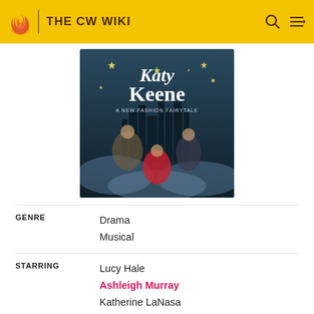THE CW WIKI
[Figure (photo): Katy Keene TV show promotional poster showing the title 'Katy Keene' with subtitle 'A New Fashion Fairytale' and cast members posed against a moody city skyline background with stars]
| GENRE | Drama
Musical |
| STARRING | Lucy Hale
Ashleigh Murray
Katherine LaNasa
Julia Chan
Jonny Beauchamp
Lucien Laviscount |